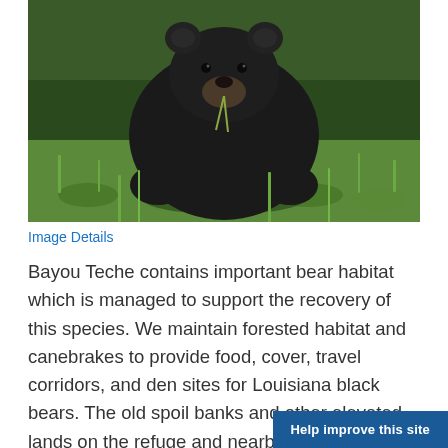[Figure (photo): A black bear standing in green grass and low vegetation, facing the camera, with a green plant stem in its mouth. Forest greenery visible in the background.]
Image Details
Bayou Teche contains important bear habitat which is managed to support the recovery of this species. We maintain forested habitat and canebrakes to provide food, cover, travel corridors, and den sites for Louisiana black bears. The old spoil banks and other elevated lands on the refuge and nearby woodland habitats are core habitats for bears. Th
Help improve this site